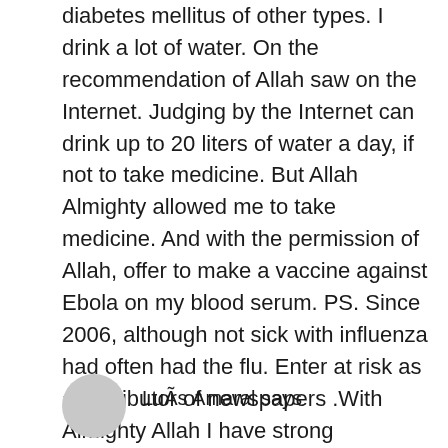diabetes mellitus of other types. I drink a lot of water. On the recommendation of Allah saw on the Internet. Judging by the Internet can drink up to 20 liters of water a day, if not to take medicine. But Allah Almighty allowed me to take medicine. And with the permission of Allah, offer to make a vaccine against Ebola on my blood serum. PS. Since 2006, although not sick with influenza had often had the flu. Enter at risk as a distributor of newspapers .With Almighty Allah I have strong immunitet.Bely house and CDC sent letters to clarify I propose to make a vaccine for antibodies in my blood, not of my bloodphone +79046762574
LuÃs Amaral says